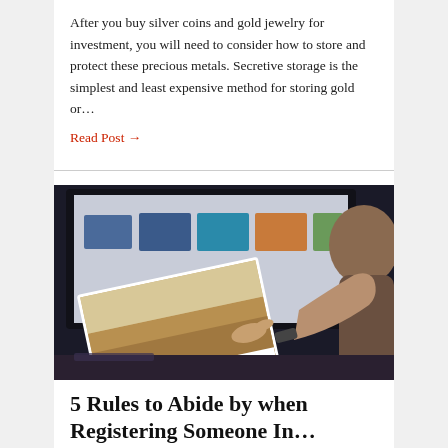After you buy silver coins and gold jewelry for investment, you will need to consider how to store and protect these precious metals. Secretive storage is the simplest and least expensive method for storing gold or…
Read Post →
[Figure (photo): Person holding a printed photograph or magazine showing a landscape, sitting in front of a computer monitor displaying photo thumbnails. Dark background with warm tones.]
5 Rules to Abide by when Registering Someone In…